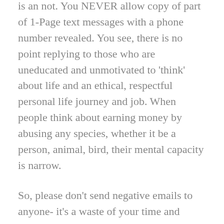is an not. You NEVER allow copy of part of 1-Page text messages with a phone number revealed. You see, there is no point replying to those who are uneducated and unmotivated to 'think' about life and an ethical, respectful personal life journey and job. When people think about earning money by abusing any species, whether it be a person, animal, bird, their mental capacity is narrow.
So, please don't send negative emails to anyone- it's a waste of your time and energy.
Those who support bird breeding do not understand bird behaviour and applied behaviour analysis-applied to humans as well- and they are not interested- they just don't get it- let's focus on educating the public and governments about ethical and respectful bird care-because if they did understand this they would not support or endorse